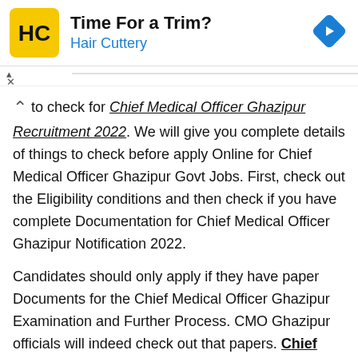[Figure (other): Advertisement banner for Hair Cuttery with logo, headline 'Time For a Trim?', subline 'Hair Cuttery', and a blue diamond navigation arrow icon on the right.]
to check for Chief Medical Officer Ghazipur Recruitment 2022. We will give you complete details of things to check before apply Online for Chief Medical Officer Ghazipur Govt Jobs. First, check out the Eligibility conditions and then check if you have complete Documentation for Chief Medical Officer Ghazipur Notification 2022.
Candidates should only apply if they have paper Documents for the Chief Medical Officer Ghazipur Examination and Further Process. CMO Ghazipur officials will indeed check out that papers. Chief Medical Officer Ghazipur Recruitment 2022 is